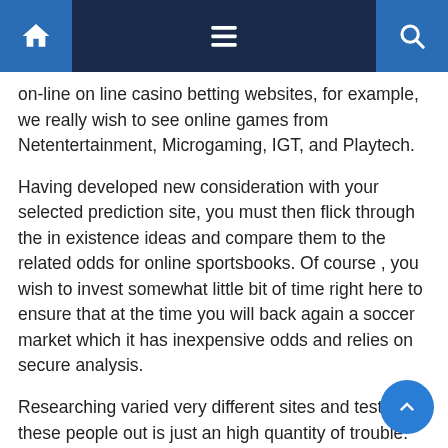Navigation bar with home, menu, and search icons
on-line on line casino betting websites, for example, we really wish to see online games from Netentertainment, Microgaming, IGT, and Playtech.
Having developed new consideration with your selected prediction site, you must then flick through the in existence ideas and compare them to the related odds for online sportsbooks. Of course , you wish to invest somewhat little bit of time right here to ensure that at the time you will back again a soccer market which it has inexpensive odds and relies on secure analysis.
Researching varied very different sites and testing these people out is just an high quantity of trouble. That's why we provide positions of the greatest betting websites, ensuring that Our recommendations happen to be respectable, trusted, and secure. To study extra concerning the licensing